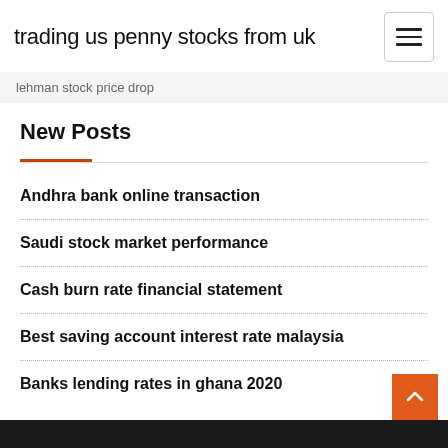trading us penny stocks from uk
lehman stock price drop
New Posts
Andhra bank online transaction
Saudi stock market performance
Cash burn rate financial statement
Best saving account interest rate malaysia
Banks lending rates in ghana 2020